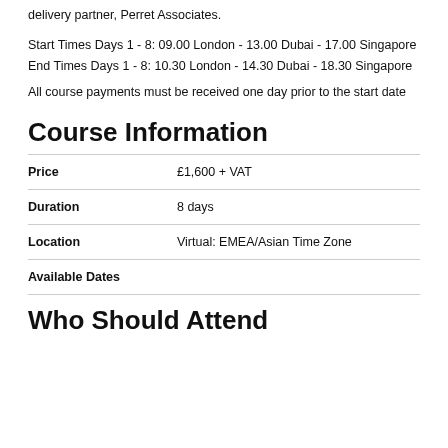delivery partner, Perret Associates.
Start Times Days 1 - 8: 09.00 London - 13.00 Dubai - 17.00 Singapore
End Times Days 1 - 8: 10.30 London - 14.30 Dubai - 18.30 Singapore
All course payments must be received one day prior to the start date
Course Information
|  |  |
| --- | --- |
| Price | £1,600 + VAT |
| Duration | 8 days |
| Location | Virtual: EMEA/Asian Time Zone |
| Available Dates |  |
Who Should Attend